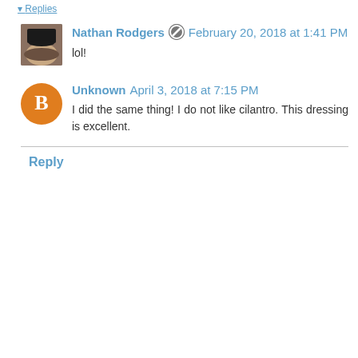▾ Replies
Nathan Rodgers · February 20, 2018 at 1:41 PM
lol!
Unknown · April 3, 2018 at 7:15 PM
I did the same thing! I do not like cilantro. This dressing is excellent.
Reply